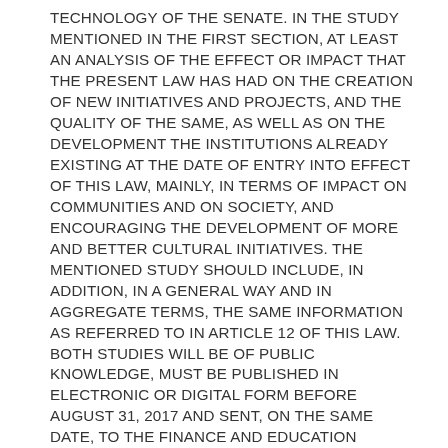TECHNOLOGY OF THE SENATE. IN THE STUDY MENTIONED IN THE FIRST SECTION, AT LEAST AN ANALYSIS OF THE EFFECT OR IMPACT THAT THE PRESENT LAW HAS HAD ON THE CREATION OF NEW INITIATIVES AND PROJECTS, AND THE QUALITY OF THE SAME, AS WELL AS ON THE DEVELOPMENT THE INSTITUTIONS ALREADY EXISTING AT THE DATE OF ENTRY INTO EFFECT OF THIS LAW, MAINLY, IN TERMS OF IMPACT ON COMMUNITIES AND ON SOCIETY, AND ENCOURAGING THE DEVELOPMENT OF MORE AND BETTER CULTURAL INITIATIVES. THE MENTIONED STUDY SHOULD INCLUDE, IN ADDITION, IN A GENERAL WAY AND IN AGGREGATE TERMS, THE SAME INFORMATION AS REFERRED TO IN ARTICLE 12 OF THIS LAW. BOTH STUDIES WILL BE OF PUBLIC KNOWLEDGE, MUST BE PUBLISHED IN ELECTRONIC OR DIGITAL FORM BEFORE AUGUST 31, 2017 AND SENT, ON THE SAME DATE, TO THE FINANCE AND EDUCATION COMMITTEES, SPORTS AND RECREATION OF THE CHAMBER OF DEPUTY FINANCE AND